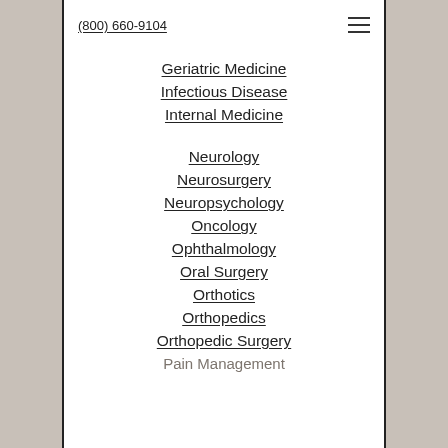(800) 660-9104
Gastrointestinal (GI)
General Surgery
Geriatric Medicine
Infectious Disease
Internal Medicine
Neurology
Neurosurgery
Neuropsychology
Oncology
Ophthalmology
Oral Surgery
Orthotics
Orthopedics
Orthopedic Surgery
Pain Management